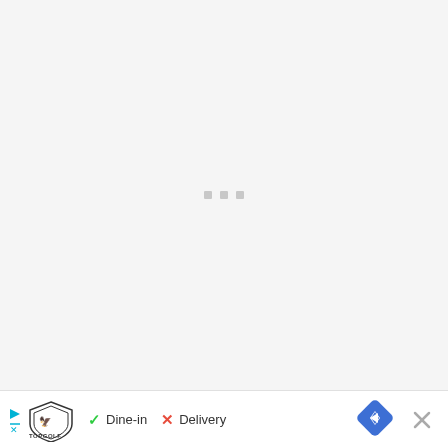[Figure (screenshot): Loading screen with three small grey square dots centered on a light grey background]
[Figure (infographic): Advertisement bar at bottom: Topgolf logo with play and X icons on left, checkmark Dine-in, X Delivery text, blue diamond navigation icon, and grey X close button on right]